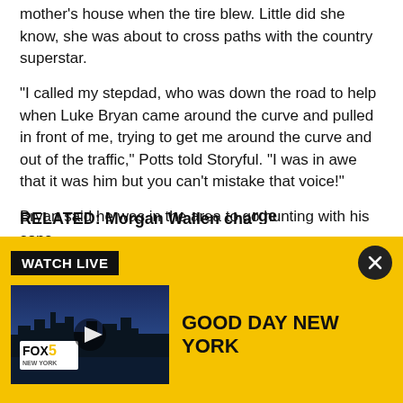mother's house when the tire blew. Little did she know, she was about to cross paths with the country superstar.
"I called my stepdad, who was down the road to help when Luke Bryan came around the curve and pulled in front of me, trying to get me around the curve and out of the traffic," Potts told Storyful. "I was in awe that it was him but you can't mistake that voice!"
Bryan said he was in the area to go hunting with his sons.
RELATED: Morgan Wallen...
[Figure (screenshot): FOX 5 New York 'Good Day New York' video thumbnail with yellow Watch Live banner, close button, and show title]